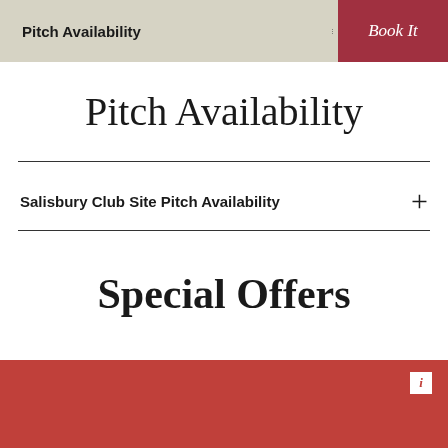Pitch Availability  ⋮  Book It
Pitch Availability
Salisbury Club Site Pitch Availability  +
Special Offers
i